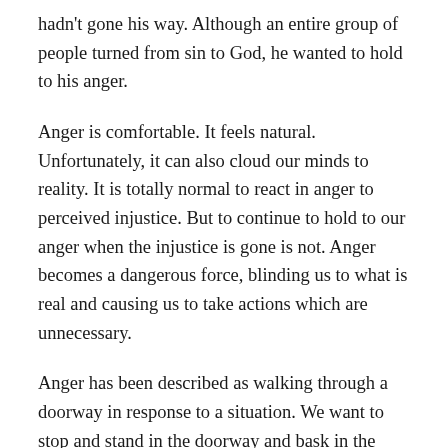hadn't gone his way. Although an entire group of people turned from sin to God, he wanted to hold to his anger.
Anger is comfortable. It feels natural. Unfortunately, it can also cloud our minds to reality. It is totally normal to react in anger to perceived injustice. But to continue to hold to our anger when the injustice is gone is not. Anger becomes a dangerous force, blinding us to what is real and causing us to take actions which are unnecessary.
Anger has been described as walking through a doorway in response to a situation. We want to stop and stand in the doorway and bask in the feeling. We